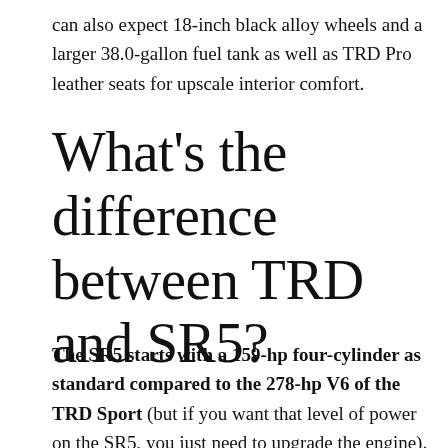can also expect 18-inch black alloy wheels and a larger 38.0-gallon fuel tank as well as TRD Pro leather seats for upscale interior comfort.
What's the difference between TRD and SR5?
The SR5 starts with a 159-hp four-cylinder as standard compared to the 278-hp V6 of the TRD Sport (but if you want that level of power on the SR5, you just need to upgrade the engine). This is the power you need to cross rugged terrain in any condition on any kind of f...